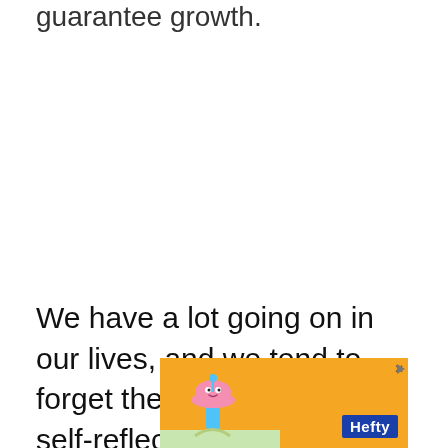guarantee growth.
We have a lot going on in our lives, and we tend to forget the importance of self-reflection. This will inhibit us from
[Figure (illustration): Orange advertisement banner with a cartoon character (blue mushroom-like figure with pink hat) on a light-colored ground, with a 'Hefty' brand logo in blue on the right side and close/skip controls (triangle play and X) in the top right corner.]